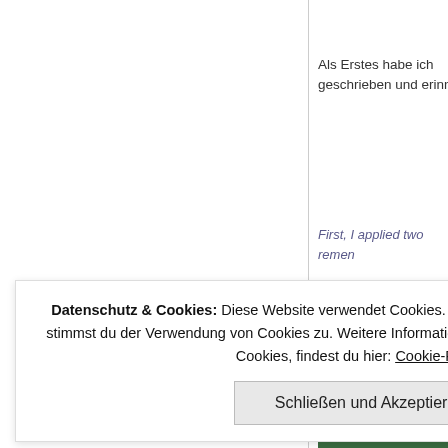Als Erstes habe ich geschrieben und erinn
First, I applied two remen
[Figure (photo): Partial photo visible in bottom right corner of right column, appears to show food or decorative items with blue/green tones]
Datenschutz & Cookies: Diese Website verwendet Cookies. Wenn du die Website weiterhin nutzt, stimmst du der Verwendung von Cookies zu. Weitere Informationen, beispielsweise zur Kontrolle von Cookies, findest du hier: Cookie-Richtlinie
Schließen und Akzeptieren